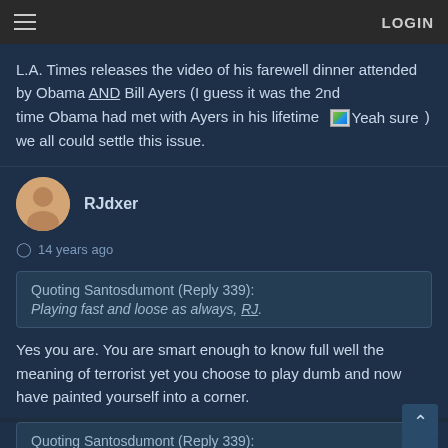LOGIN
L.A. Times releases the video of his farewell dinner attended by Obama AND Bill Ayers (I guess it was the 2nd time Obama had met with Ayers in his lifetime [Yeah sure] ) we all could settle this issue.
RJdxer
14 years ago
Quoting Santosdumont (Reply 339): Playing fast and loose as always, RJ.
Yes you are. You are smart enough to know full well the meaning of terrorist yet you choose to play dumb and now have painted yourself into a corner.
Quoting Santosdumont (Reply 339): Otherwise they are common criminals?